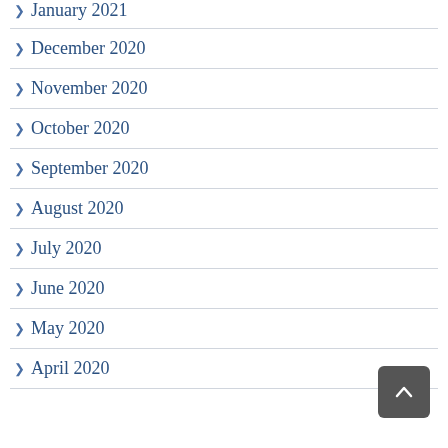January 2021
December 2020
November 2020
October 2020
September 2020
August 2020
July 2020
June 2020
May 2020
April 2020